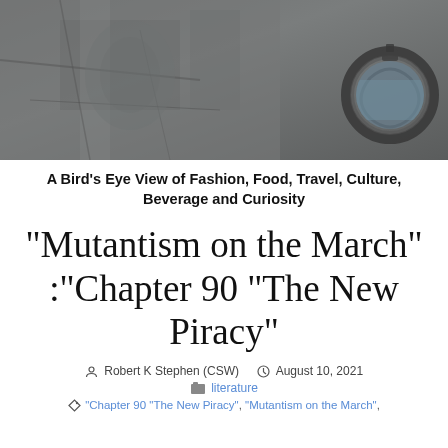[Figure (photo): Close-up photograph of dark grey stone or rock surface with rough texture and a circular iron or metal decorative element on the right side, appearing like a historic ornamental ring or anchor.]
A Bird's Eye View of Fashion, Food, Travel, Culture, Beverage and Curiosity
“Mutantism on the March” :“Chapter 90 “The New Piracy”
Robert K Stephen (CSW)   August 10, 2021
literature
“Chapter 90 “The New Piracy”, “Mutantism on the March”,